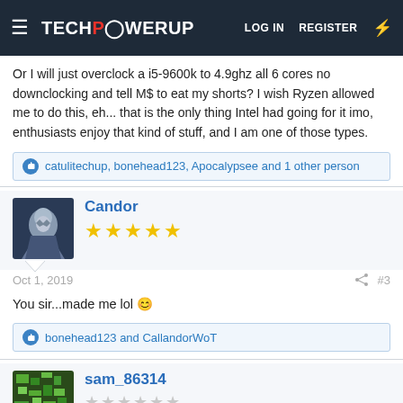TECHPOWERUP — LOG IN  REGISTER
Or I will just overclock a i5-9600k to 4.9ghz all 6 cores no downclocking and tell M$ to eat my shorts? I wish Ryzen allowed me to do this, eh... that is the only thing Intel had going for it imo, enthusiasts enjoy that kind of stuff, and I am one of those types.
catulitechup, bonehead123, Apocalypsee and 1 other person
Candor
★★★★★
Oct 1, 2019   #3
You sir...made me lol 🙂
bonehead123 and CallandorWoT
sam_86314